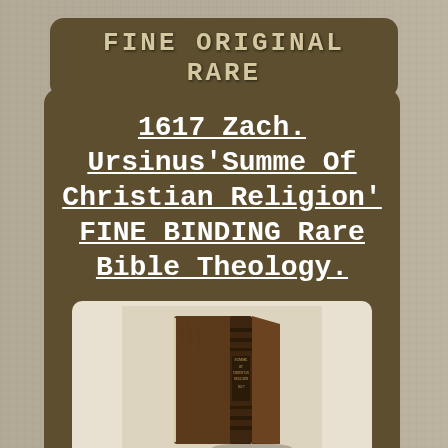Fine Original Rare
1617 Zach. Ursinus'Summe Of Christian Religion' FINE BINDING Rare Bible Theology.
[Figure (photo): Photograph of an old leather-bound book, standing upright showing its spine and cover, dark brown aged leather binding from 1617.]